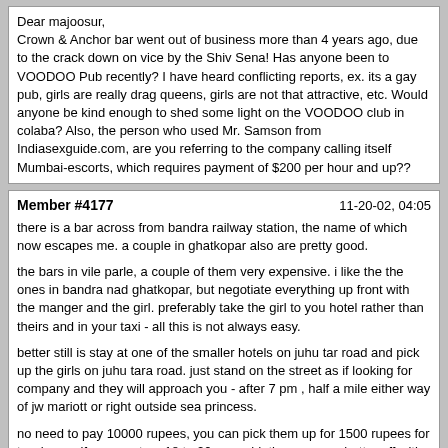Dear majoosur,
Crown & Anchor bar went out of business more than 4 years ago, due to the crack down on vice by the Shiv Sena! Has anyone been to VOODOO Pub recently? I have heard conflicting reports, ex. its a gay pub, girls are really drag queens, girls are not that attractive, etc. Would anyone be kind enough to shed some light on the VOODOO club in colaba? Also, the person who used Mr. Samson from Indiasexguide.com, are you referring to the company calling itself Mumbai-escorts, which requires payment of $200 per hour and up??
Member #4177
11-20-02, 04:05
there is a bar across from bandra railway station, the name of which now escapes me. a couple in ghatkopar also are pretty good.

the bars in vile parle, a couple of them very expensive. i like the the ones in bandra nad ghatkopar, but negotiate everything up front with the manger and the girl. preferably take the girl to you hotel rather than theirs and in your taxi - all this is not always easy.

better still is stay at one of the smaller hotels on juhu tar road and pick up the girls on juhu tara road. just stand on the street as if looking for company and they will approach you - after 7 pm , half a mile either way of jw mariott or right outside sea princess.

no need to pay 10000 rupees, you can pick them up for 1500 rupees for two hours. if you want an 18 to 20 year old, then you are better off with ads from newspapers that send the girl to you room, if you like, you pay or else tell them to get lost. tell that to them on the phone that if you do not like the girl you will send her back. specify clearly what you want.
Mojosaur
11-20-02, 04:12
Desi, is that Juhu Beach, "chowpatty", you are talking about? That is where I stayed for Ganesh, but there were no girls at that time, crackdown or something, only at some house near the Airport, Moslems ran it, with 8-10 girls. Also a dance club where there was a midget at the door. Very bizarre.